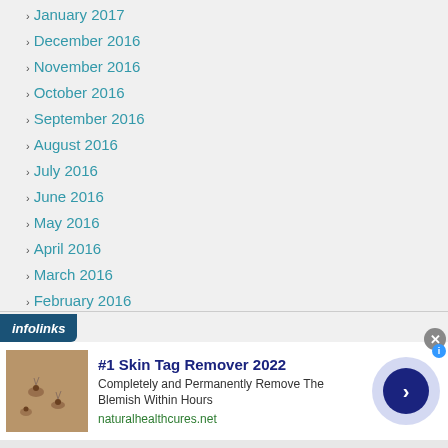January 2017
December 2016
November 2016
October 2016
September 2016
August 2016
July 2016
June 2016
May 2016
April 2016
March 2016
February 2016
January 2016
December 2015
November 2015
October 2015
[Figure (infographic): infolinks advertisement banner: '#1 Skin Tag Remover 2022 - Completely and Permanently Remove The Blemish Within Hours - naturalhealthcures.net' with skin tag photo, close button, and navigation arrow button]